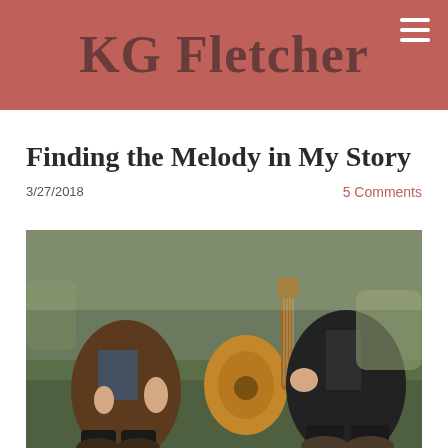KG Fletcher
Finding the Melody in My Story
3/27/2018
5 Comments
[Figure (photo): Two people sitting on grass outdoors, one playing an acoustic guitar. Both wearing casual clothing and boots. Earthy tones, candid photograph.]